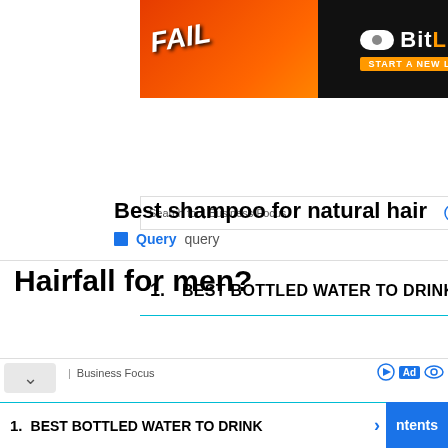[Figure (infographic): BitLife advertisement banner with orange/red flame background, 'FAIL' text in white italic, animated character, and BitLife logo with 'START A NEW LIFE' tagline on dark background]
[Figure (screenshot): Search bar with text 'Search for | Business Focus' and Ad/eye icons]
1. BEST BOTTLED WATER TO DRINK →
[Figure (logo): How logo - purple/dark blue rounded rectangle with white H and 'ow' text and red underline]
Best shampoo for natural hair
■ Query   query
Hairfall for men?
[Figure (screenshot): Bottom ad bar with collapse chevron, Business Focus label, Ad icons]
1. BEST BOTTLED WATER TO DRINK ›
ntents